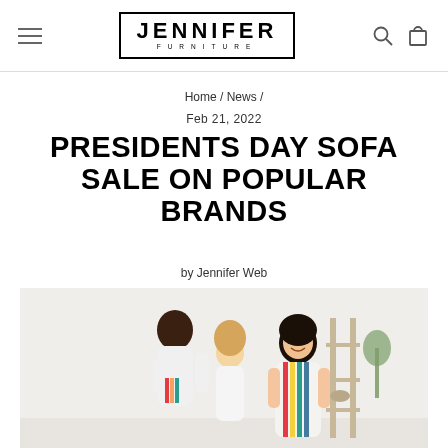Jennifer Furniture — navigation header with hamburger menu, logo, search and cart icons
Home / News /
Feb 21, 2022
PRESIDENTS DAY SOFA SALE ON POPULAR BRANDS
by Jennifer Web
[Figure (photo): Three children playing indoors in a bright white room with a shelf visible in the background]